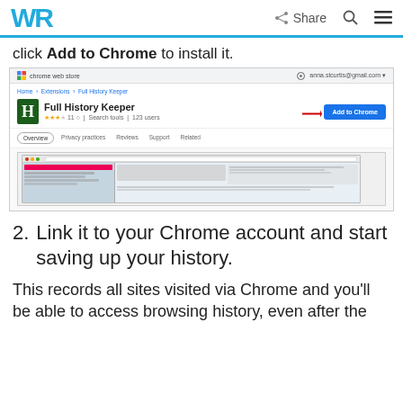WR | Share
click Add to Chrome to install it.
[Figure (screenshot): Chrome Web Store page showing 'Full History Keeper' extension with an 'Add to Chrome' button highlighted by a red arrow. The page shows breadcrumb navigation (Home > Extensions > Full History Keeper), the extension icon (H), star rating, and navigation tabs (Overview, Privacy practices, Reviews, Support, Related). Below is a screenshot preview of the extension in use.]
2. Link it to your Chrome account and start saving up your history.
This records all sites visited via Chrome and you'll be able to access browsing history, even after the